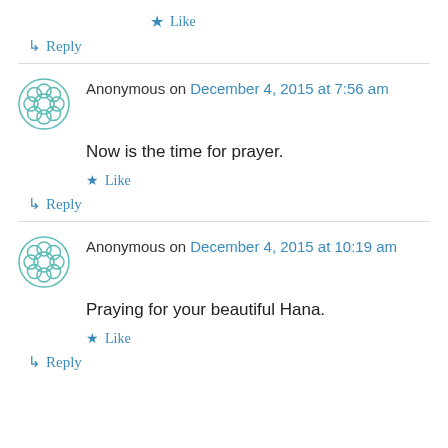★ Like
↳ Reply
Anonymous on December 4, 2015 at 7:56 am
Now is the time for prayer.
★ Like
↳ Reply
Anonymous on December 4, 2015 at 10:19 am
Praying for your beautiful Hana.
★ Like
↳ Reply